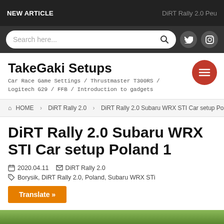NEW ARTICLE | DiRT Rally 2.0 Peu...
Search here...
TakeGaki Setups
Car Race Game Settings / Thrustmaster T300RS / Logitech G29 / FFB / Introduction to gadgets
HOME > DiRT Rally 2.0 > DiRT Rally 2.0 Subaru WRX STI Car setup Pola...
DiRT Rally 2.0 Subaru WRX STI Car setup Poland 1
2020.04.11  DiRT Rally 2.0
Borysik, DiRT Rally 2.0, Poland, Subaru WRX STi
Translate »